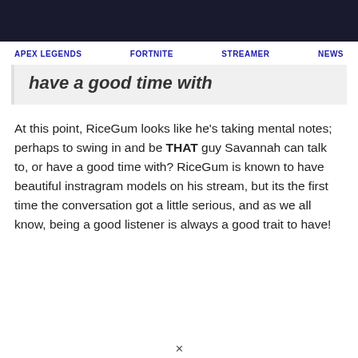APEX LEGENDS   FORTNITE   STREAMER   NEWS
have a good time with
At this point, RiceGum looks like he's taking mental notes; perhaps to swing in and be THAT guy Savannah can talk to, or have a good time with? RiceGum is known to have beautiful instragram models on his stream, but its the first time the conversation got a little serious, and as we all know, being a good listener is always a good trait to have!